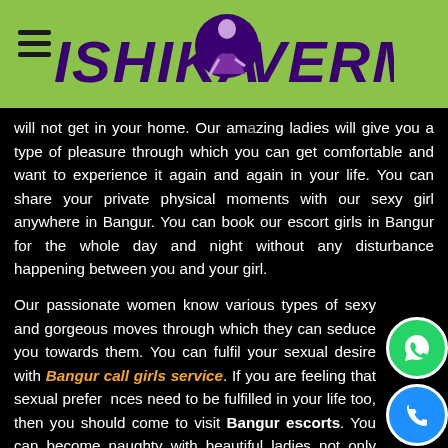ISHIKA VERMA (logo header with green background)
will not get in your home. Our amazing ladies will give you a type of pleasure through which you can get comfortable and want to experience it again and again in your life. You can share your private physical moments with our sexy girl anywhere in Bangur. You can book our escort girls in Bangur for the whole day and night without any disturbance happening between you and your girl.
Our passionate women know various types of sexy and gorgeous moves through which they can seduce you towards them. You can fulfil your sexual desire with Bangur call girls service. If you are feeling that sexual preferences need to be fulfilled in your life too, then you should come to visit Bangur escorts. You can become naughty with beautiful ladies not only during intimation on the bed but